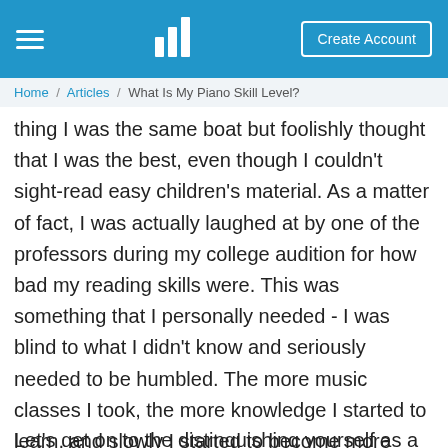≡  [logo]  Create Account
Home / Articles / What Is My Piano Skill Level?
thing I was the same boat but foolishly thought that I was the best, even though I couldn't sight-read easy children's material. As a matter of fact, I was actually laughed at by one of the professors during my college audition for how bad my reading skills were. This was something that I personally needed - I was blind to what I didn't know and seriously needed to be humbled. The more music classes I took, the more knowledge I started to learn, and slowly I started to become more aware as to how intricate and deep music really is.
Let's get on to the distinguishing yourself as a